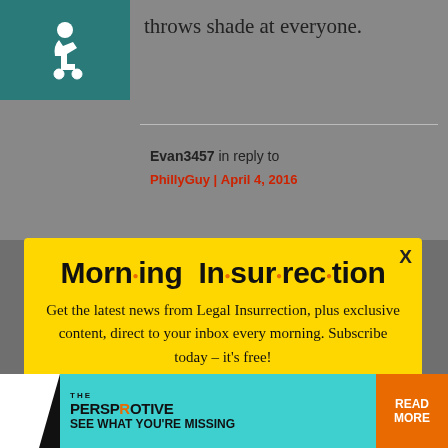[Figure (screenshot): Accessibility wheelchair icon in teal square]
throws shade at everyone.
Evan3457 in reply to
PhillyGuy | April 4, 2016
[Figure (infographic): Morning Insurrection popup modal with yellow background. Title: 'Morn·ing In·sur·rec·tion'. Body: 'Get the latest news from Legal Insurrection, plus exclusive content, direct to your inbox every morning. Subscribe today – it's free!' Button: JOIN NOW with envelope icon. X close button top right.]
position, and his handlers inform him of
[Figure (infographic): THE PERSPECTIVE ad banner: SEE WHAT YOU'RE MISSING | READ MORE]